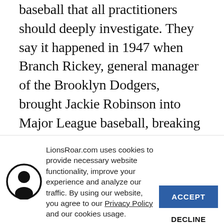baseball that all practitioners should deeply investigate. They say it happened in 1947 when Branch Rickey, general manager of the Brooklyn Dodgers, brought Jackie Robinson into Major League baseball, breaking the color line. At the Dodgers' first game in St. Louis, a crowd of curious, bleakly hostile, even violent spectators, rose up
LionsRoar.com uses cookies to provide necessary website functionality, improve your experience and analyze our traffic. By using our website, you agree to our Privacy Policy and our cookies usage.
[Figure (illustration): Circular icon with a silhouette of a person's head and shoulders, black circle border, white background]
ACCEPT
DECLINE